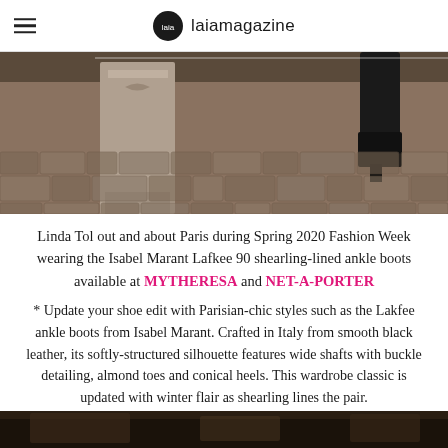laiamagazine
[Figure (photo): Street-level view of cobblestone pavement with a stone architectural column base; a person's legs in black tall boots visible in upper right corner. Paris setting, Spring 2020 Fashion Week.]
Linda Tol out and about Paris during Spring 2020 Fashion Week wearing the Isabel Marant Lafkee 90 shearling-lined ankle boots available at MYTHERESA and NET-A-PORTER
* Update your shoe edit with Parisian-chic styles such as the Lakfee ankle boots from Isabel Marant. Crafted in Italy from smooth black leather, its softly-structured silhouette features wide shafts with buckle detailing, almond toes and conical heels. This wardrobe classic is updated with winter flair as shearling lines the pair.
[Figure (photo): Bottom portion of another fashion photograph, dark background, partial view of lower portion of image.]